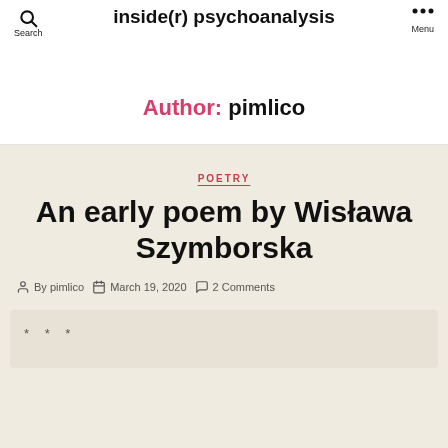inside(r) psychoanalysis
Author: pimlico
POETRY
An early poem by Wisława Szymborska
By pimlico  March 19, 2020  2 Comments
* * *